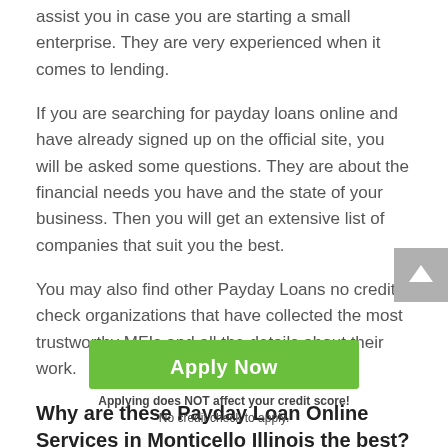assist you in case you are starting a small enterprise. They are very experienced when it comes to lending.
If you are searching for payday loans online and have already signed up on the official site, you will be asked some questions. They are about the financial needs you have and the state of your business. Then you will get an extensive list of companies that suit you the best.
You may also find other Payday Loans no credit check organizations that have collected the most trustworthy MFIs and all the details about their work.
Why are these Payday Loan Online Services in Monticello Illinois the best?
You can get money without paperwork, long waiting, and even downloading documents in Monticello in Illinois . In [short number] and TIN. There will be fast approval.